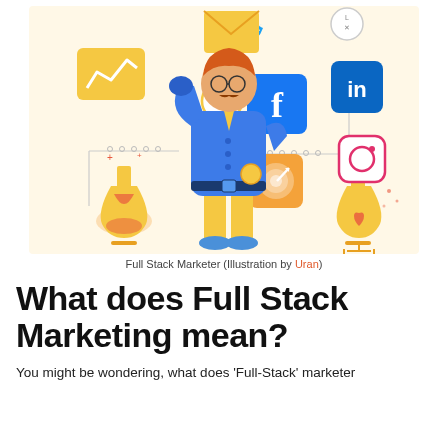[Figure (illustration): A full-stack marketer illustration: a character in a blue postal uniform holding up a large envelope, surrounded by social media icons (Twitter bird, Facebook 'f', LinkedIn 'in', Instagram camera), an SEO badge, a graph/chart icon, chemistry flasks, a target/bullseye icon, and a circuit diagram background. The background is light cream/beige.]
Full Stack Marketer (Illustration by Uran)
What does Full Stack Marketing mean?
You might be wondering, what does 'Full-Stack' marketer